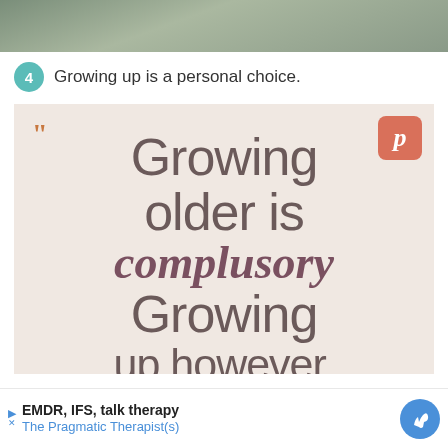[Figure (photo): Partial top photo of a person outdoors, cropped to a strip at the top of the page]
4  Growing up is a personal choice.
[Figure (illustration): A typographic quote image on a beige background with a Pinterest badge. Text reads: "Growing older is complusory Growing up, however, remains]
EMDR, IFS, talk therapy
The Pragmatic Therapist(s)